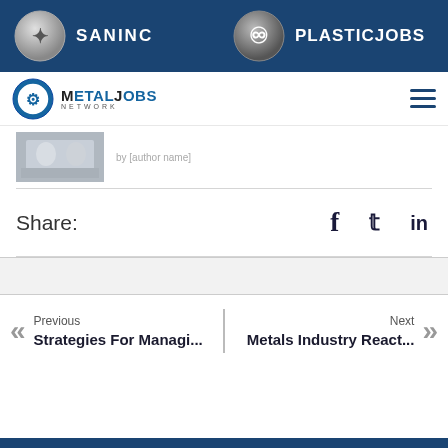SANINC   PLASTICJOBS
[Figure (logo): MetalJobs Network logo with navigation hamburger menu]
[Figure (photo): Thumbnail image of people in office/business setting]
Share:
f  (twitter bird icon)  in
Previous
Strategies For Managi...
Next
Metals Industry React...